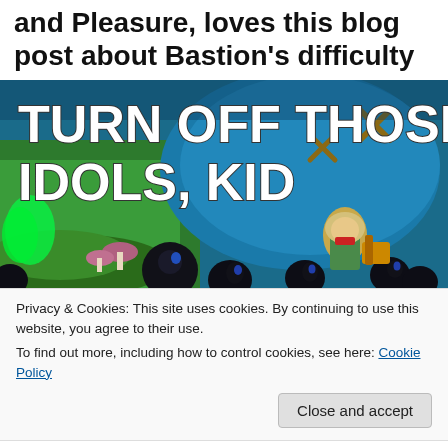and Pleasure, loves this blog post about Bastion's difficulty
[Figure (photo): Screenshot from the game Bastion showing a character (the Kid) fighting dark blob enemies, with large white bold text overlaid reading 'TURN OFF THOSE IDOLS, KID']
Privacy & Cookies: This site uses cookies. By continuing to use this website, you agree to their use.
To find out more, including how to control cookies, see here: Cookie Policy
Close and accept
him with their lethal attacks. Up until that point, the Kid had